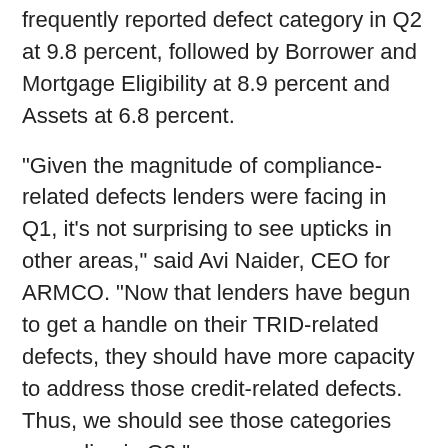frequently reported defect category in Q2 at 9.8 percent, followed by Borrower and Mortgage Eligibility at 8.9 percent and Assets at 6.8 percent.
"Given the magnitude of compliance-related defects lenders were facing in Q1, it's not surprising to see upticks in other areas," said Avi Naider, CEO for ARMCO. "Now that lenders have begun to get a handle on their TRID-related defects, they should have more capacity to address those credit-related defects. Thus, we should see those categories normalize in Q3."
To view the full report, visit http://www.armco.us/knowledge/mortgage-qc-industry-report-2016-q2.